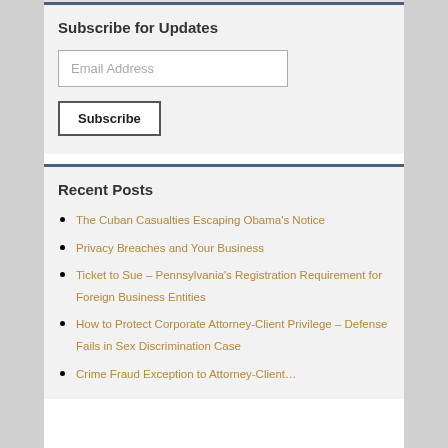Subscribe for Updates
Email Address
Subscribe
Recent Posts
The Cuban Casualties Escaping Obama's Notice
Privacy Breaches and Your Business
Ticket to Sue – Pennsylvania's Registration Requirement for Foreign Business Entities
How to Protect Corporate Attorney-Client Privilege – Defense Fails in Sex Discrimination Case
Crime Fraud Exception to Attorney-Client…